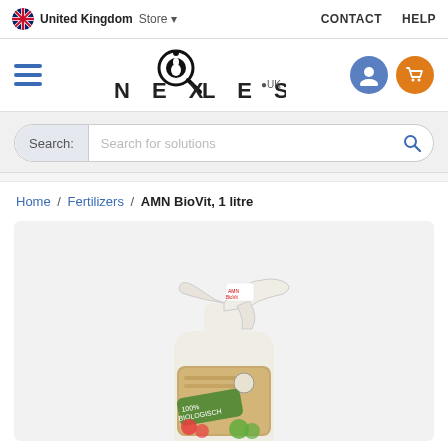United Kingdom Store  CONTACT  HELP
[Figure (logo): NEXLES UK logo with circular magnifier icon]
Search: Search for solutions
Home / Fertilizers / AMN BioVit, 1 litre
[Figure (photo): AMN BioVit 1 litre spray bottle product photo with beige/wood label and green BIOLOGISCH tag]